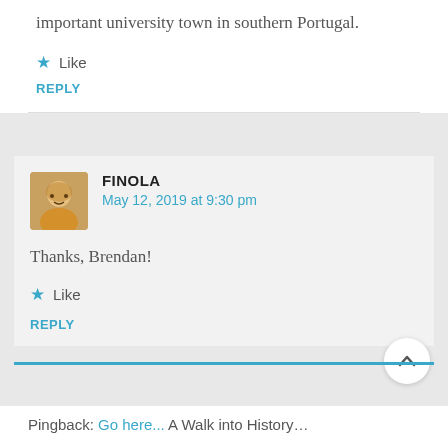important university town in southern Portugal.
★ Like
REPLY
FINOLA
May 12, 2019 at 9:30 pm
Thanks, Brendan!
★ Like
REPLY
Pingback: Go here...A Walk into History...